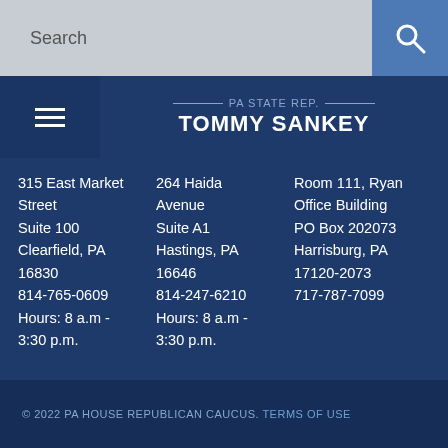Search
PA STATE REP. TOMMY SANKEY
315 East Market Street
Suite 100
Clearfield, PA
16830
814-765-0609
Hours: 8 a.m - 3:30 p.m.
264 Haida Avenue
Suite A1
Hastings, PA
16646
814-247-6210
Hours: 8 a.m - 3:30 p.m.
Room 111, Ryan Office Building
PO Box 202073
Harrisburg, PA
17120-2073
717-787-7099
© 2022 PA HOUSE REPUBLICAN CAUCUS. TERMS OF USE